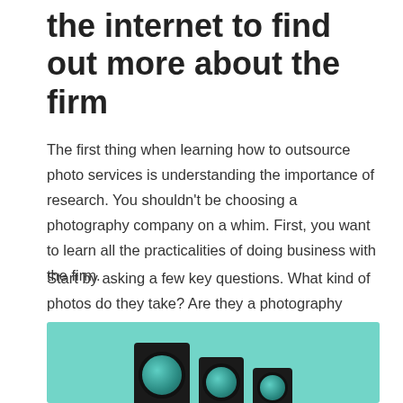the internet to find out more about the firm
The first thing when learning how to outsource photo services is understanding the importance of research. You shouldn't be choosing a photography company on a whim. First, you want to learn all the practicalities of doing business with the firm.
Start by asking a few key questions. What kind of photos do they take? Are they a photography studio near me? Do they fit my budget? Do they offer the kind of services I need as an ecommerce company?
[Figure (photo): Photo of multiple camera lenses standing upright against a teal/mint green background]